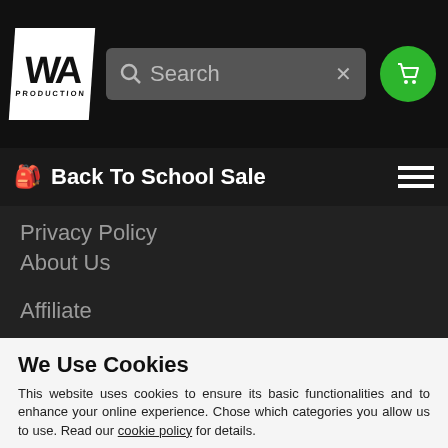[Figure (logo): WA Production logo - white box with WA text and PRODUCTION label]
[Figure (screenshot): Search bar with magnifying glass icon and X close button]
[Figure (logo): Green circle cart icon]
Back To School Sale
Privacy Policy
About Us
Affiliate
We Use Cookies
This website uses cookies to ensure its basic functionalities and to enhance your online experience. Chose which categories you allow us to use. Read our cookie policy for details.
CUSTOM SETTINGS
ACCEPT ALL COOKIES